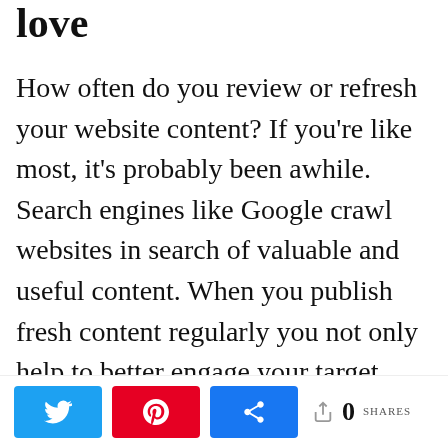love
How often do you review or refresh your website content? If you're like most, it's probably been awhile. Search engines like Google crawl websites in search of valuable and useful content. When you publish fresh content regularly you not only help to better engage your target audience, but you also increase your